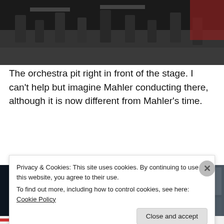[Figure (photo): Orchestra pit interior with chairs and music stands visible, dark theatrical setting]
The orchestra pit right in front of the stage. I can't help but imagine Mahler conducting there, although it is now different from Mahler's time.
[Figure (photo): Backstage or stage area with theatrical equipment, set pieces including ornate building facades, lighting rigs and rigging visible overhead]
Privacy & Cookies: This site uses cookies. By continuing to use this website, you agree to their use.
To find out more, including how to control cookies, see here: Cookie Policy
Close and accept